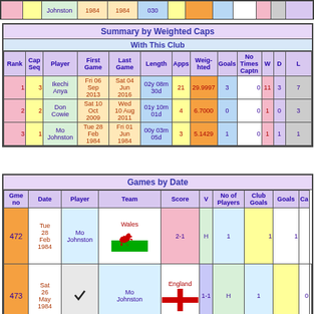|  |  | Johnston | 1984 | 1984 | 030 |  |  |  |  |  |  |  |
| --- | --- | --- | --- | --- | --- | --- | --- | --- | --- | --- | --- | --- |
Summary by Weighted Caps
With This Club
| Rank | Cap Seq | Player | First Game | Last Game | Length | Apps | Weighted | Goals | No Times Captn | W | D | L |
| --- | --- | --- | --- | --- | --- | --- | --- | --- | --- | --- | --- | --- |
| 1 | 3 | Ikechi Anya | Fri 06 Sep 2013 | Sat 04 Jun 2016 | 02y 08m 30d | 21 | 29.9997 | 3 | 0 | 11 | 3 | 7 |
| 2 | 2 | Don Cowie | Sat 10 Oct 2009 | Wed 10 Aug 2011 | 01y 10m 01d | 4 | 6.7000 | 0 | 0 | 1 | 0 | 3 |
| 3 | 1 | Mo Johnston | Tue 28 Feb 1984 | Fri 01 Jun 1984 | 00y 03m 05d | 3 | 5.1429 | 1 | 0 | 1 | 1 | 1 |
Games by Date
| Gme no | Date | Player | Team | Score | V | No of Players | Club Goals | Goals | Ca |
| --- | --- | --- | --- | --- | --- | --- | --- | --- | --- |
| 472 | Tue 28 Feb 1984 | Mo Johnston | Wales | 2-1 | H | 1 | 1 | 1 |  |
| 473 | Sat 26 May 1984 | Mo Johnston | England | 1-1 | H | 1 |  | 0 |  |